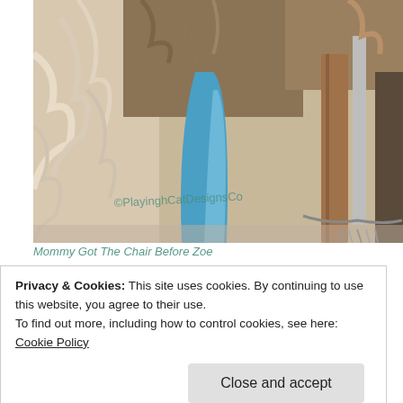[Figure (photo): Close-up photo of a colorful painting/artwork showing textured brushstrokes in beige, brown, blue and grey tones, with a watermark '©PlayinghCatDesignsCo' visible at the bottom]
Mommy Got The Chair Before Zoe
Privacy & Cookies: This site uses cookies. By continuing to use this website, you agree to their use.
To find out more, including how to control cookies, see here: Cookie Policy
Close and accept
I helps her choose the filters in Luna Pic. I chose